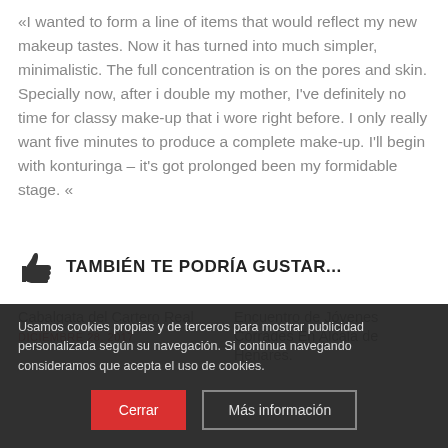«I wanted to form a line of items that would reflect my new makeup tastes. Now it has turned into much simpler, minimalistic. The full concentration is on the pores and skin. Specially now, after i double my mother, I've definitely no time for classy make-up that i wore right before. I only really want five minutes to produce a complete make-up. I'll begin with konturinga – it's got prolonged been my formidable stage. «
TAMBIÉN TE PODRÍA GUSTAR...
Cabalgata del Cartero Real
DICIEMBRE 28, 2017
Encuentro de Jóvenes Corrades En Alcala de Henares.
Usamos cookies propias y de terceros para mostrar publicidad personalizada según su navegación. Si continua navegando consideramos que acepta el uso de cookies.